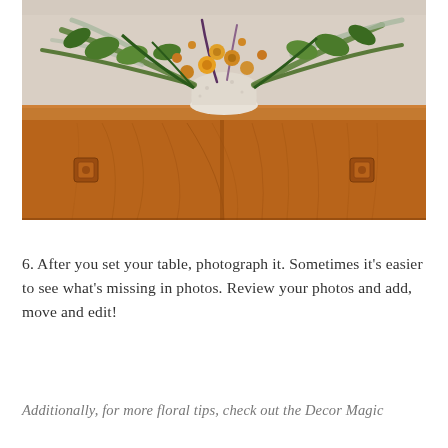[Figure (photo): A wooden mid-century modern sideboard/credenza with warm teak wood grain finish and square recessed drawer pulls, topped with a floral arrangement in a white speckled ceramic vase containing yellow, orange flowers, green foliage, and silvery-grey branches.]
6. After you set your table, photograph it. Sometimes it's easier to see what's missing in photos. Review your photos and add, move and edit!
Additionally, for more floral tips, check out the Decor Magic